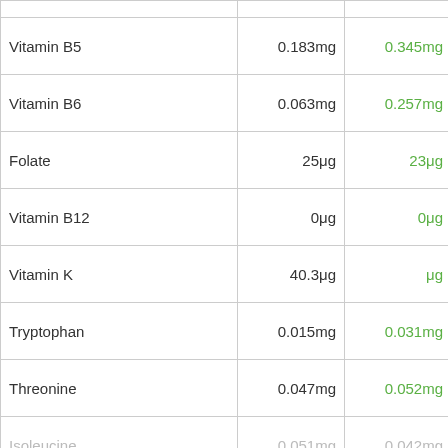| Nutrient | Value 1 | Value 2 | Icon |
| --- | --- | --- | --- |
| Vitamin B5 | 0.183mg | 0.345mg | [cherimoya icons] |
| Vitamin B6 | 0.063mg | 0.257mg | [cherimoya icons] |
| Folate | 25μg | 23μg | [kiwi icon] |
| Vitamin B12 | 0μg | 0μg |  |
| Vitamin K | 40.3μg | μg | [kiwi icon] |
| Tryptophan | 0.015mg | 0.031mg | [cherimoya icons] |
| Threonine | 0.047mg | 0.052mg | [cherimoya icons] |
| Isoleucine | 0.051mg | 0.042mg | [kiwi icon] |